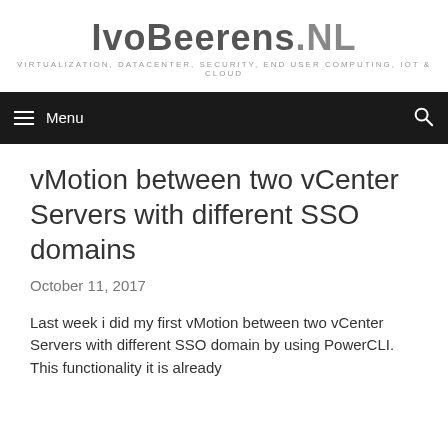[Figure (logo): IvoBeerens.NL logo with tagline: VIRTUALIZATION, DATACENTER, SECURITY, END USER COMPUTING, IOT & CLOUD]
≡ Menu
vMotion between two vCenter Servers with different SSO domains
October 11, 2017
Last week i did my first vMotion between two vCenter Servers with different SSO domain by using PowerCLI. This functionality it is already